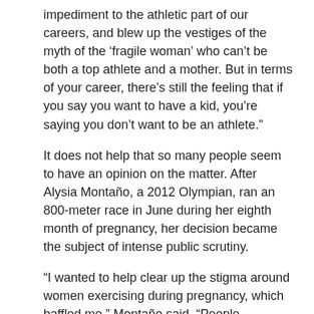impediment to the athletic part of our careers, and blew up the vestiges of the myth of the ‘fragile woman’ who can’t be both a top athlete and a mother. But in terms of your career, there’s still the feeling that if you say you want to have a kid, you’re saying you don’t want to be an athlete.”
It does not help that so many people seem to have an opinion on the matter. After Alysia Montaño, a 2012 Olympian, ran an 800-meter race in June during her eighth month of pregnancy, her decision became the subject of intense public scrutiny.
“I wanted to help clear up the stigma around women exercising during pregnancy, which baffled me,” Montaño said. “People sometimes act like being pregnant is a nine-month death sentence, like you should lie in bed all day. I wanted to be an example for women starting a family while continuing a career, whatever that might be. I was still surprised by how many people paid attention.”
Montaño’s daughter was born in August.
“Giving birth is a very athletic activity, like going through intervals on the track,” Montaño said. “Like contractions, intervals can start out